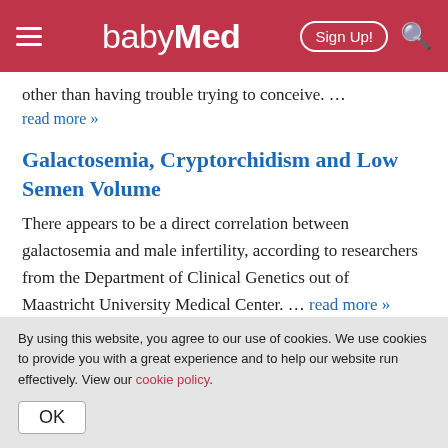babyMed
other than having trouble trying to conceive. …
read more »
Galactosemia, Cryptorchidism and Low Semen Volume
There appears to be a direct correlation between galactosemia and male infertility, according to researchers from the Department of Clinical Genetics out of Maastricht University Medical Center. … read more »
By using this website, you agree to our use of cookies. We use cookies to provide you with a great experience and to help our website run effectively. View our cookie policy.
OK